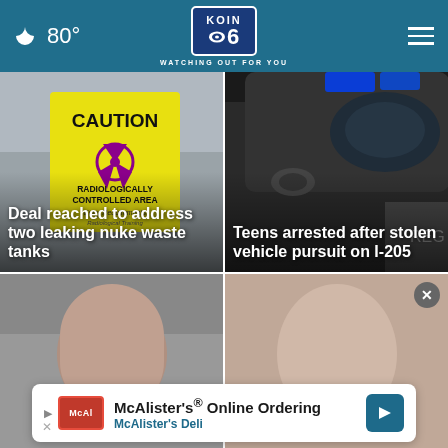🌙 80° | KOIN 6 CBS | WATCHING OUT FOR YOU
[Figure (photo): Yellow caution radiation sign reading CAUTION RADIOLOGICALLY CONTROLLED AREA with radiation symbol, blurred outdoor background]
Deal reached to address two leaking nuke waste tanks
[Figure (photo): Close-up of police car door with blue emergency light flashing]
Teens arrested after stolen vehicle pursuit on I-205
[Figure (photo): Partial photo of a person, lower portion of face visible]
[Figure (photo): Partial photo of a person]
McAlister's® Online Ordering
McAlister's Deli